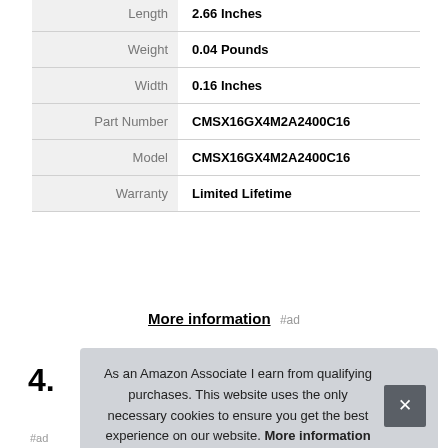| Attribute | Value |
| --- | --- |
| Length | 2.66 Inches |
| Weight | 0.04 Pounds |
| Width | 0.16 Inches |
| Part Number | CMSX16GX4M2A2400C16 |
| Model | CMSX16GX4M2A2400C16 |
| Warranty | Limited Lifetime |
More information #ad
4.
As an Amazon Associate I earn from qualifying purchases. This website uses the only necessary cookies to ensure you get the best experience on our website. More information
#ad